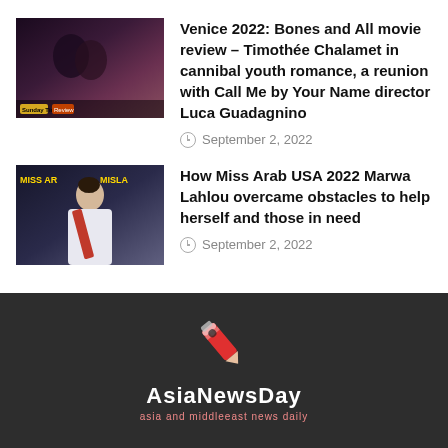[Figure (photo): Movie still thumbnail – two figures close together in dark, moody lighting]
Venice 2022: Bones and All movie review – Timothée Chalamet in cannibal youth romance, a reunion with Call Me by Your Name director Luca Guadagnino
September 2, 2022
[Figure (photo): Photo of Miss Arab USA 2022 Marwa Lahlou wearing a white outfit and sash, with pageant banners in background]
How Miss Arab USA 2022 Marwa Lahlou overcame obstacles to help herself and those in need
September 2, 2022
[Figure (logo): AsiaNewsDay logo – red and white pencil/rocket icon above bold text 'AsiaNewsDay' with tagline 'asia and middleeast news daily']
Asianewsday.com is one the most authoritative and trusted